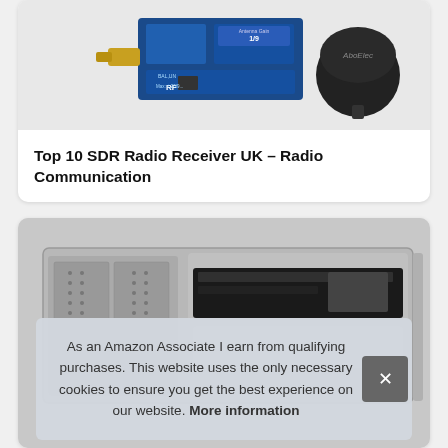[Figure (photo): Photo of SDR radio receiver components: a blue PCB module with SMA connector and antenna connector labeled 'RF', and a black dome antenna with 'AboElec' branding]
Top 10 SDR Radio Receiver UK – Radio Communication
[Figure (photo): Photo of a NAS (Network Attached Storage) device, gray metal enclosure with drive bays visible, one drive partially inserted]
As an Amazon Associate I earn from qualifying purchases. This website uses the only necessary cookies to ensure you get the best experience on our website. More information